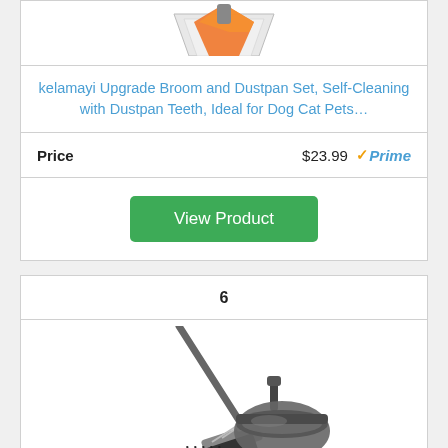[Figure (photo): Partial view of an orange and grey dustpan product (top portion cut off)]
kelamayi Upgrade Broom and Dustpan Set, Self-Cleaning with Dustpan Teeth, Ideal for Dog Cat Pets…
Price   $23.99   Prime
View Product
6
[Figure (photo): Grey broom and dustpan set with long handle angled broom and rounded dustpan]